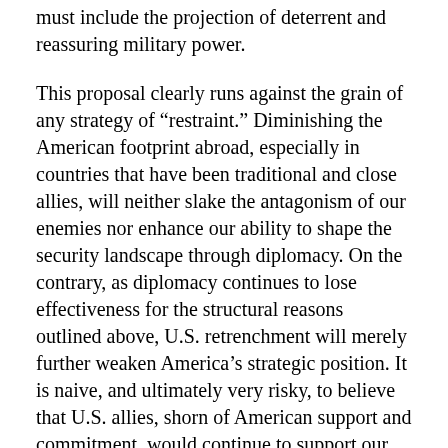must include the projection of deterrent and reassuring military power.
This proposal clearly runs against the grain of any strategy of “restraint.” Diminishing the American footprint abroad, especially in countries that have been traditional and close allies, will neither slake the antagonism of our enemies nor enhance our ability to shape the security landscape through diplomacy. On the contrary, as diplomacy continues to lose effectiveness for the structural reasons outlined above, U.S. retrenchment will merely further weaken America’s strategic position. It is naive, and ultimately very risky, to believe that U.S. allies, shorn of American support and commitment, would continue to support our interests simply because we “engage” with them.
Finally, the next administration should take special care not to engage in empty process diplomacy. It is always tempting to enter into protracted negotiations, if only to generate hope of a political solution on the horizon. In truth, it is not always possible to know in advance which investments of diplomatic capital will eventually